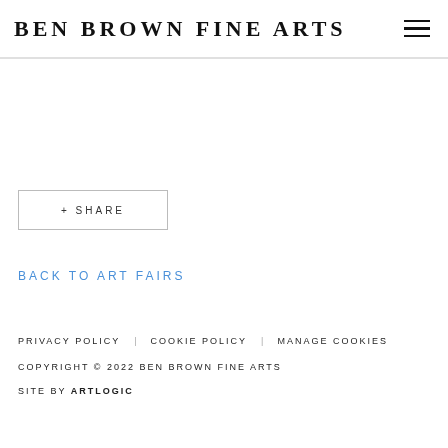BEN BROWN FINE ARTS
+ SHARE
BACK TO ART FAIRS
PRIVACY POLICY   COOKIE POLICY   MANAGE COOKIES
COPYRIGHT © 2022 BEN BROWN FINE ARTS
SITE BY ARTLOGIC